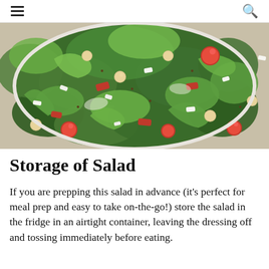≡ [menu icon] ... [search icon]
[Figure (photo): Close-up photo of a kale salad with chickpeas, cherry tomatoes, crumbled feta cheese, and dressing on a white plate]
Storage of Salad
If you are prepping this salad in advance (it's perfect for meal prep and easy to take on-the-go!) store the salad in the fridge in an airtight container, leaving the dressing off and tossing immediately before eating.